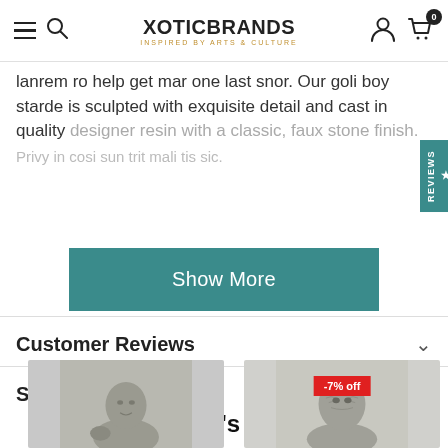XoticBrands - Inspired by Arts & Culture
lanrem ro help get mar one last snor. Our goli boy starde is sculpted with exquisite detail and cast in quality designer resin with a classic, faux stone finish.
Show More
Customer Reviews
Shipping + Returns
Editor's Pick
[Figure (photo): Two product photos: left shows a boy/child bust sculpture in gray stone finish; right shows a wrinkled/aged man face bust sculpture in gray stone finish with a -7% off badge]